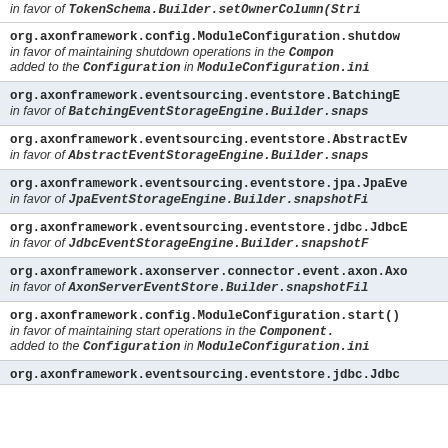org.axonframework.config.ModuleConfiguration.shutdown...
org.axonframework.eventsourcing.eventstore.BatchingE...
org.axonframework.eventsourcing.eventstore.AbstractEv...
org.axonframework.eventsourcing.eventstore.jpa.JpaEve...
org.axonframework.eventsourcing.eventstore.jdbc.JdbcE...
org.axonframework.axonserver.connector.event.axon.Axo...
org.axonframework.config.ModuleConfiguration.start()
org.axonframework.eventsourcing.eventstore.jdbc.Jdbc...